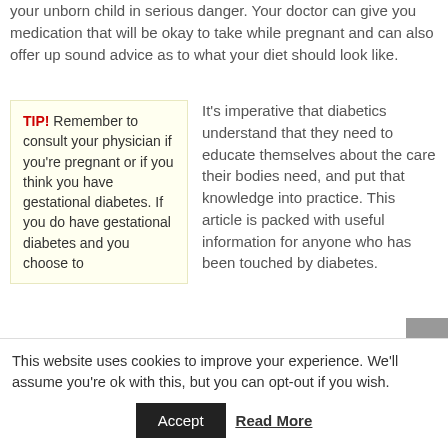your unborn child in serious danger. Your doctor can give you medication that will be okay to take while pregnant and can also offer up sound advice as to what your diet should look like.
TIP! Remember to consult your physician if you're pregnant or if you think you have gestational diabetes. If you do have gestational diabetes and you choose to
It's imperative that diabetics understand that they need to educate themselves about the care their bodies need, and put that knowledge into practice. This article is packed with useful information for anyone who has been touched by diabetes.
This website uses cookies to improve your experience. We'll assume you're ok with this, but you can opt-out if you wish.